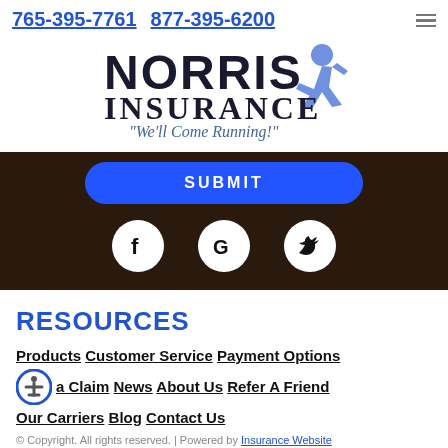765-395-7761  877-395-6200
[Figure (logo): Norris Insurance logo with running figure and tagline 'We'll Come Running!']
[Figure (other): Submit button (blue rounded rectangle) and social media icons (Facebook, Google, Twitter) on dark textured background]
RESOURCES
Products | Customer Service | Payment Options
Report a Claim | News | About Us | Refer A Friend
Our Carriers | Blog | Contact Us
© Copyright. All rights reserved. | Powered by Insurance Website